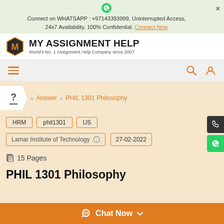Connect on WHATSAPP : +97143393999, Uninterrupted Access, 24x7 Availability, 100% Confidential. Connect Now
[Figure (logo): My Assignment Help logo with orange hexagon M icon and text]
MY ASSIGNMENT HELP
World's No. 1 Assignment Help Company since 2007
Answer >> PHIL 1301 Philosophy
HRM
phil1301
US
Lamar Institute of Technology
27-02-2022
15 Pages
PHIL 1301 Philosophy
Chat Now